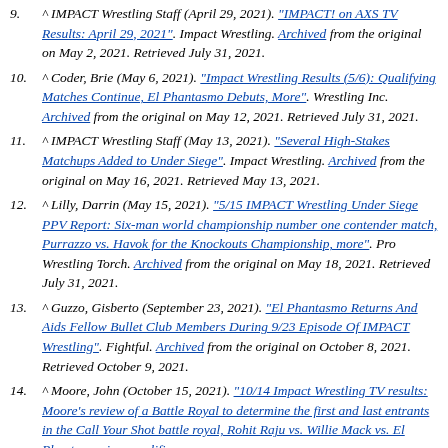9. ^ IMPACT Wrestling Staff (April 29, 2021). "IMPACT! on AXS TV Results: April 29, 2021". Impact Wrestling. Archived from the original on May 2, 2021. Retrieved July 31, 2021.
10. ^ Coder, Brie (May 6, 2021). "Impact Wrestling Results (5/6): Qualifying Matches Continue, El Phantasmo Debuts, More". Wrestling Inc. Archived from the original on May 12, 2021. Retrieved July 31, 2021.
11. ^ IMPACT Wrestling Staff (May 13, 2021). "Several High-Stakes Matchups Added to Under Siege". Impact Wrestling. Archived from the original on May 16, 2021. Retrieved May 13, 2021.
12. ^ Lilly, Darrin (May 15, 2021). "5/15 IMPACT Wrestling Under Siege PPV Report: Six-man world championship number one contender match, Purrazzo vs. Havok for the Knockouts Championship, more". Pro Wrestling Torch. Archived from the original on May 18, 2021. Retrieved July 31, 2021.
13. ^ Guzzo, Gisberto (September 23, 2021). "El Phantasmo Returns And Aids Fellow Bullet Club Members During 9/23 Episode Of IMPACT Wrestling". Fightful. Archived from the original on October 8, 2021. Retrieved October 9, 2021.
14. ^ Moore, John (October 15, 2021). "10/14 Impact Wrestling TV results: Moore's review of a Battle Royal to determine the first and last entrants in the Call Your Shot battle royal, Rohit Raju vs. Willie Mack vs. El Phantasmo in a qualifier